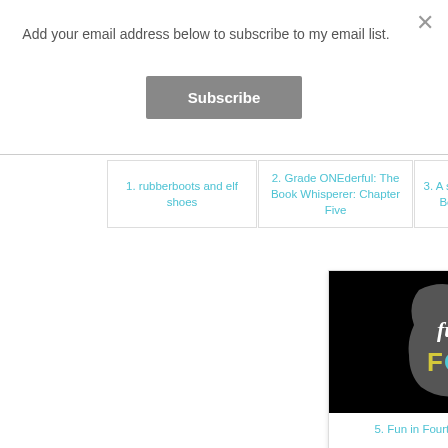Add your email address below to subscribe to my email list.
Subscribe
1. rubberboots and elf shoes
2. Grade ONEderful: The Book Whisperer: Chapter Five
3. A special... The Book W...
[Figure (logo): Fun in Fourth logo: dark grey decorative frame on black background with cursive 'fun in' text in white and 'FOURTH' in colorful letters (yellow F, teal O, yellow U, pink R, teal T, pink H)]
5. Fun in Fourth: The Book Whisperer: Chapter 5